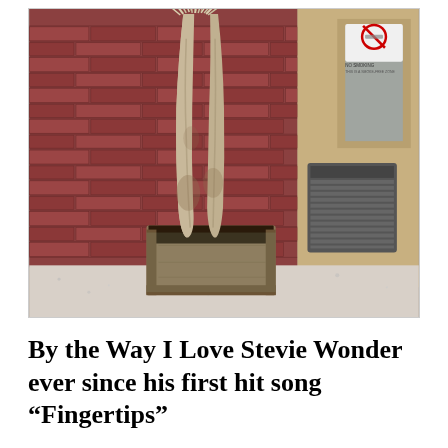[Figure (photo): A sculptural figure — the lower half of a human-like form (legs only, no torso or head visible) standing in a square wooden planter box filled with dark soil. The figure appears to be made of a pale, weathered material. The setting is indoors, against a red brick wall. A no-smoking sign is visible on the upper right wall, and a heating unit is against the right wall. The floor is a light speckled tile.]
By the Way I Love Stevie Wonder ever since his first hit song “Fingertips”